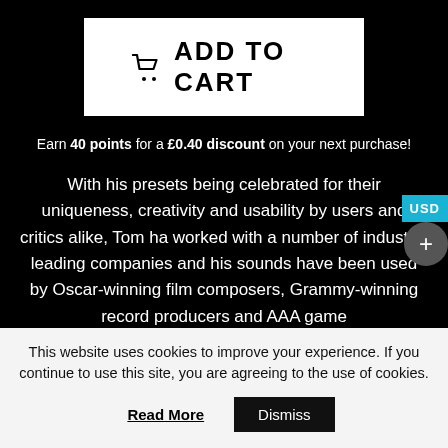[Figure (other): Add to Cart button with shopping cart icon on white background]
Earn 40 points for a £0.40 discount on your next purchase!
With his presets being celebrated for their uniqueness, creativity and usability by users and critics alike, Tom ha worked with a number of industry-leading companies and his sounds have been used by Oscar-winning film composers, Grammy-winning record producers and AAA game
This website uses cookies to improve your experience. If you continue to use this site, you are agreeing to the use of cookies.
Read More
Dismiss